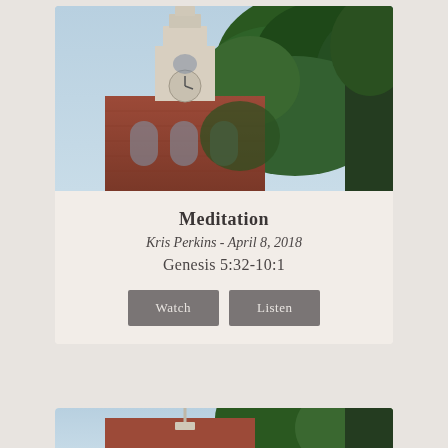[Figure (photo): Photograph of a red brick church with a white steeple and clock, surrounded by green trees against a blue sky, viewed from below.]
Meditation
Kris Perkins - April 8, 2018
Genesis 5:32-10:1
Watch   Listen
[Figure (photo): Partial photograph of the same red brick church steeple with green trees, cropped at bottom of page.]